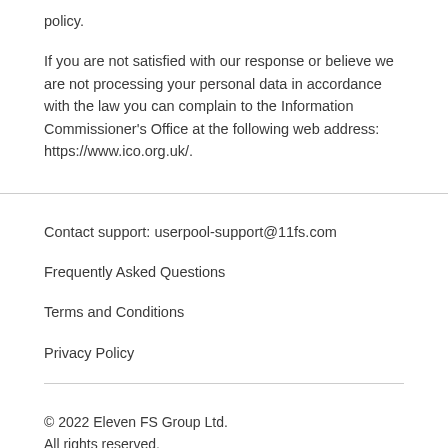policy.
If you are not satisfied with our response or believe we are not processing your personal data in accordance with the law you can complain to the Information Commissioner's Office at the following web address: https://www.ico.org.uk/.
Contact support: userpool-support@11fs.com
Frequently Asked Questions
Terms and Conditions
Privacy Policy
© 2022 Eleven FS Group Ltd.
All rights reserved.